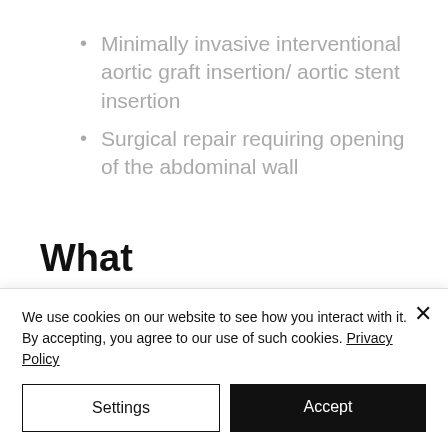Minimally invasive interventional aortic graft insertion/ aortic stent insertion
Surgical repair requiring opening of the abdominal wall
What intervention/treatment
We use cookies on our website to see how you interact with it. By accepting, you agree to our use of such cookies. Privacy Policy
Settings
Accept